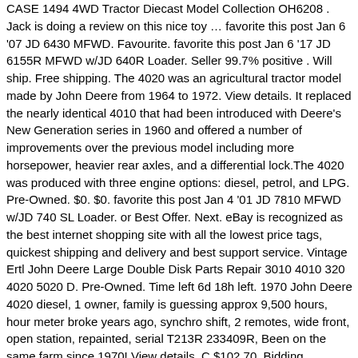CASE 1494 4WD Tractor Diecast Model Collection OH6208 . Jack is doing a review on this nice toy … favorite this post Jan 6 '07 JD 6430 MFWD. Favourite. favorite this post Jan 6 '17 JD 6155R MFWD w/JD 640R Loader. Seller 99.7% positive . Will ship. Free shipping. The 4020 was an agricultural tractor model made by John Deere from 1964 to 1972. View details. It replaced the nearly identical 4010 that had been introduced with Deere's New Generation series in 1960 and offered a number of improvements over the previous model including more horsepower, heavier rear axles, and a differential lock.The 4020 was produced with three engine options: diesel, petrol, and LPG. Pre-Owned. $0. $0. favorite this post Jan 4 '01 JD 7810 MFWD w/JD 740 SL Loader. or Best Offer. Next. eBay is recognized as the best internet shopping site with all the lowest price tags, quickest shipping and delivery and best support service. Vintage Ertl John Deere Large Double Disk Parts Repair 3010 4010 320 4020 5020 D. Pre-Owned. Time left 6d 18h left. 1970 John Deere 4020 diesel, 1 owner, family is guessing approx 9,500 hours, hour meter broke years ago, synchro shift, 2 remotes, wide front, open station, repainted, serial T213R 233409R, Been on the same farm since 1970! View details. C $102.70. Bidding history(66 bids) Lot #4014 Custom John Deere Industrial pedal angle disk . Oct 29, 2014 - This Pin was discovered by Dads